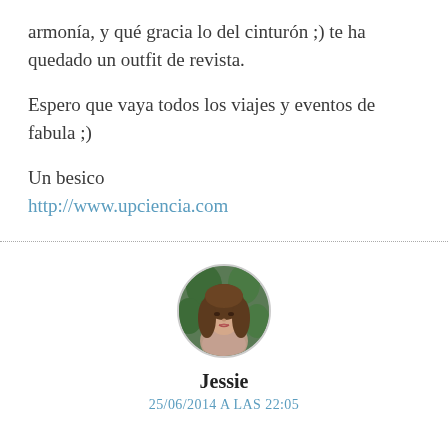armonía, y qué gracia lo del cinturón ;) te ha quedado un outfit de revista.
Espero que vaya todos los viajes y eventos de fabula ;)
Un besico
http://www.upciencia.com
[Figure (photo): Circular avatar photo of a woman with long brown hair against a green background]
Jessie
25/06/2014 A LAS 22:05